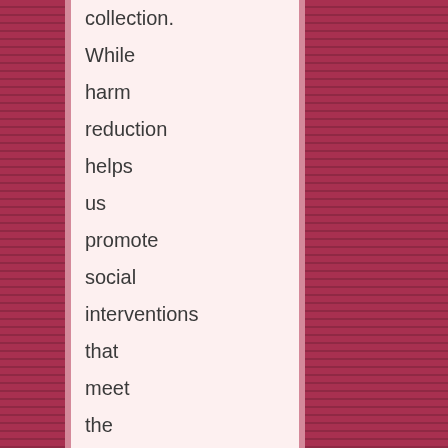collection. While harm reduction helps us promote social interventions that meet the immediate needs of communities and individuals facing difficulties, it does not necessarily and automatically address the larger context